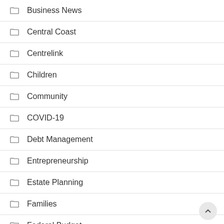Business News
Central Coast
Centrelink
Children
Community
COVID-19
Debt Management
Entrepreneurship
Estate Planning
Families
Federal Budget